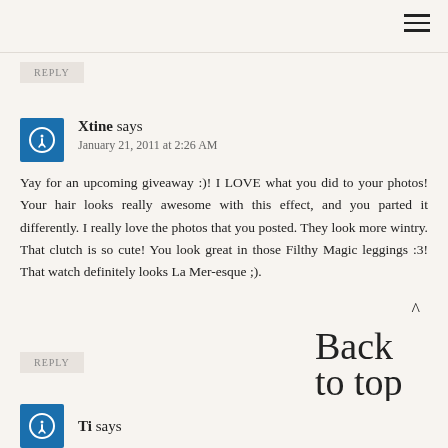REPLY
Xtine says
January 21, 2011 at 2:26 AM
Yay for an upcoming giveaway :)! I LOVE what you did to your photos! Your hair looks really awesome with this effect, and you parted it differently. I really love the photos that you posted. They look more wintry. That clutch is so cute! You look great in those Filthy Magic leggings :3! That watch definitely looks La Mer-esque ;).
REPLY
[Figure (illustration): Handwritten cursive text reading 'Back to top' with a caret symbol above it]
Ti says